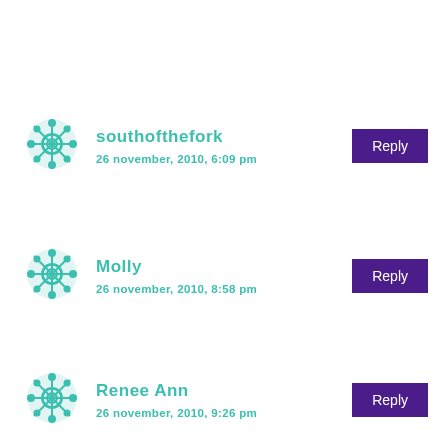southofthefork
26 november, 2010, 6:09 pm
Molly
26 november, 2010, 8:58 pm
Renee Ann
26 november, 2010, 9:26 pm